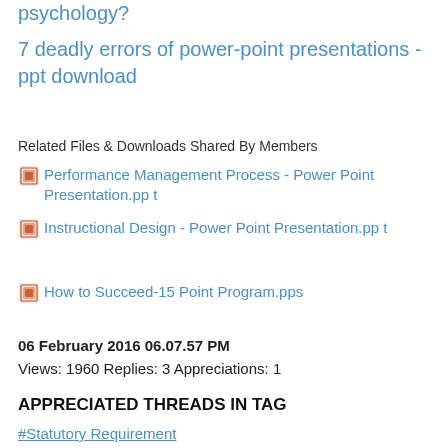psychology?
7 deadly errors of power-point presentations - ppt download
Related Files & Downloads Shared By Members
Performance Management Process - Power Point Presentation.pp t
Instructional Design - Power Point Presentation.pp t
How to Succeed-15 Point Program.pps
06 February 2016 06.07.57 PM
Views: 1960 Replies: 3 Appreciations: 1
APPRECIATED THREADS IN TAG
#Statutory Requirement